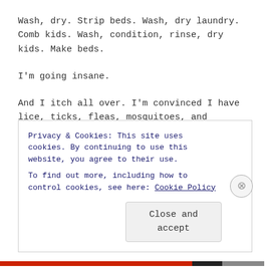Wash, dry. Strip beds. Wash, dry laundry. Comb kids. Wash, condition, rinse, dry kids. Make beds.
I'm going insane.
And I itch all over. I'm convinced I have lice, ticks, fleas, mosquitoes, and chiggers. All right now on my head.
Despite evidence that I don't.
Day one eldest was crawling with bugs. Combed out maybe 50 disgusting little buggers. Youngest had none. I had none. Morning after
Privacy & Cookies: This site uses cookies. By continuing to use this website, you agree to their use.
To find out more, including how to control cookies, see here: Cookie Policy
Close and accept